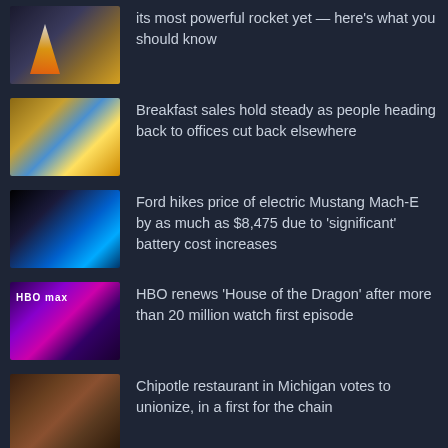its most powerful rocket yet — here's what you should know
Breakfast sales hold steady as people heading back to offices cut back elsewhere
Ford hikes price of electric Mustang Mach-E by as much as $8,475 due to 'significant' battery cost increases
HBO renews 'House of the Dragon' after more than 20 million watch first episode
Chipotle restaurant in Michigan votes to unionize, in a first for the chain
Useful Links